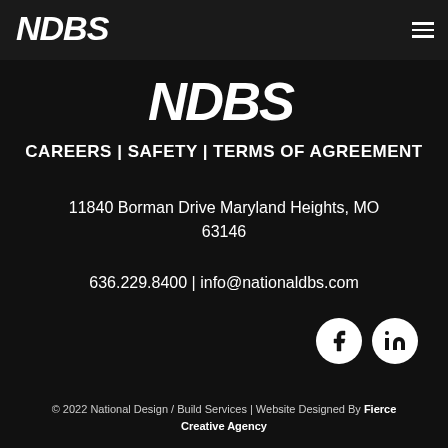[Figure (logo): NDBS logo in white italic bold text at top left of nav bar]
[Figure (logo): NDBS larger logo centered below nav bar area]
CAREERS | SAFETY | TERMS OF AGREEMENT
11840 Borman Drive Maryland Heights, MO 63146
636.229.8400 | info@nationaldbs.com
[Figure (illustration): Facebook and LinkedIn social media icon circles in white]
© 2022 National Design / Build Services | Website Designed By Fierce Creative Agency